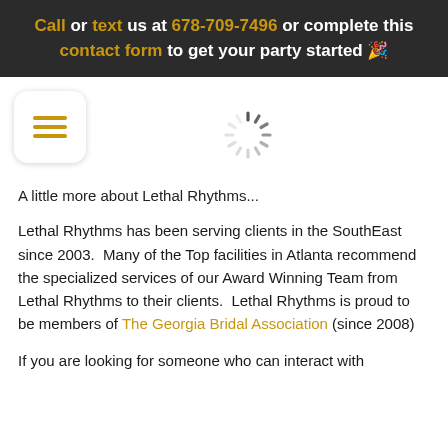Call or text us at 678-709-7496 or complete this contact form to get your party started 🎉
[Figure (other): Hamburger menu button icon (three horizontal lines) inside a white rounded rectangle card]
[Figure (other): Loading spinner animation graphic]
A little more about Lethal Rhythms...
Lethal Rhythms has been serving clients in the SouthEast since 2003.  Many of the Top facilities in Atlanta recommend the specialized services of our Award Winning Team from Lethal Rhythms to their clients.  Lethal Rhythms is proud to be members of The Georgia Bridal Association (since 2008)
If you are looking for someone who can interact with